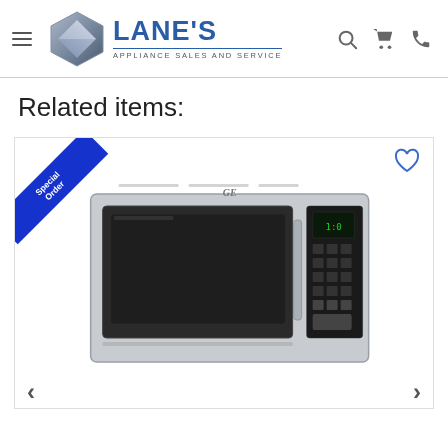Lane's Appliance Sales and Service — navigation header with hamburger menu, logo, search, cart, and phone icons
Related items:
[Figure (photo): Product card showing a GE stainless steel over-the-range microwave oven with a 'Special Order' ribbon banner in the top-left corner and a heart/wishlist icon in the top-right corner.]